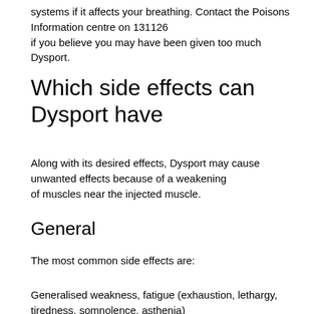systems if it affects your breathing. Contact the Poisons Information centre on 131126 if you believe you may have been given too much Dysport.
Which side effects can Dysport have
Along with its desired effects, Dysport may cause unwanted effects because of a weakening of muscles near the injected muscle.
General
The most common side effects are:
Generalised weakness, fatigue (exhaustion, lethargy, tiredness, somnolence, asthenia)